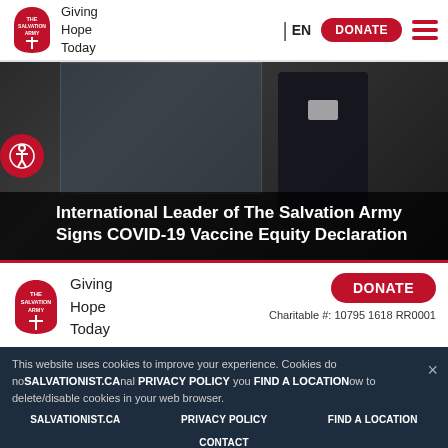The Salvation Army — Giving Hope Today | EN | DONATE
[Figure (photo): Salvation Army officer in uniform seated at desk, signing document]
International Leader of The Salvation Army Signs COVID-19 Vaccine Equity Declaration
[Figure (logo): The Salvation Army shield logo with Giving Hope Today tagline]
Charitable #: 10795 1618 RR0001
This website uses cookies to improve your experience. Cookies do not store personal information about you and are required. For information on how to delete/disable cookies in your web browser.
Accept   Privacy Policy